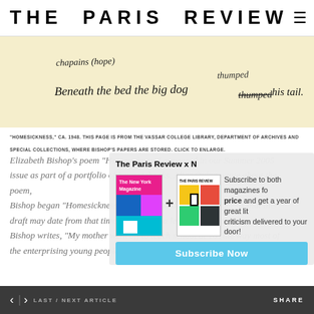THE PARIS REVIEW
[Figure (photo): Handwritten manuscript page on yellowed paper showing cursive text: 'Beneath the bed the big dog thumped his tail.']
"HOMESICKNESS," CA. 1948. THIS PAGE IS FROM THE VASSAR COLLEGE LIBRARY, DEPARTMENT OF ARCHIVES AND SPECIAL COLLECTIONS, WHERE BISHOP'S PAPERS ARE STORED. CLICK TO ENLARGE.
Elizabeth Bishop's poem "Homesickness" appeared in our Summer 2005 issue as part of a portfolio of her notebooks. Alice Quinn wrote about the poem, Bishop began "Homesickness" in 1940, and the writing suggests that this draft may date from that time. In 1964, in a letter to Anne Stevenson, Bishop writes, "My mother went off to teach school at 16 (the way most of the enterprising young people did) and her first
[Figure (infographic): Subscription overlay for The Paris Review x New Yorker bundle. Shows two magazine covers side by side with a plus sign. Text reads: Subscribe to both magazines for price and get a year of great literature and criticism delivered to your door! Subscribe Now button.]
< > LAST / NEXT ARTICLE    SHARE